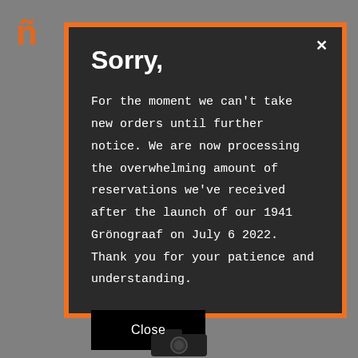Sorry,
For the moment we can't take new orders until further notice. We are now processing the overwhelming amount of reservations we've received after the launch of our 1941 Grönograaf on July 6 2022. Thank you for your patience and understanding.
Close